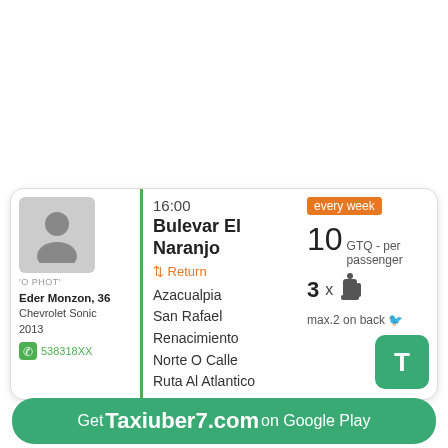Trip № 13
[Figure (screenshot): Taxiuber7 ride-sharing card for Trip 13: driver Eder Monzon age 36, Chevrolet Sonic 2013, phone 538318XX, route departing 16:00 from Bulevar El Naranjo (Return), stops at Azacualpia, San Rafael, Renacimiento, Norte O Calle, Ruta Al Atlantico; price 10 GTQ per passenger, 3 seats, max 2 on back; repeats every week.]
Get Taxiuber7.com on Google Play